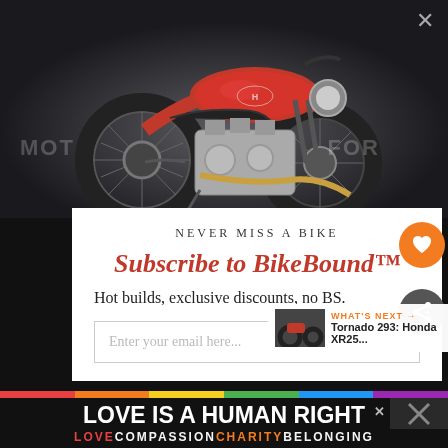[Figure (photo): Red cafe racer motorcycle (Honda CB style) with chrome engine, low handlebars, in a dark studio background. Partially covered by modal popup overlay. Watermark text 'MOT' on left and 'FOR' on right sides.]
NEVER MISS A BIKE
Subscribe to BikeBound™
Hot builds, exclusive discounts, no BS.
Enter your email here...
WHAT'S NEXT →
Tornado 293: Honda XR25...
546
LOVE IS A HUMAN RIGHT
LOVE COMPASSION CHARITY BELONGING